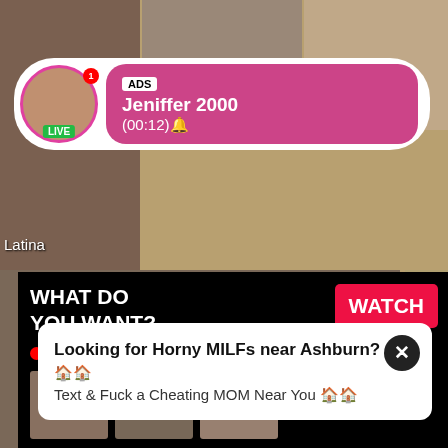[Figure (screenshot): Background grid of adult content thumbnails on tan/khaki background]
Latina
[Figure (screenshot): Notification banner with circular avatar labeled LIVE, pink/magenta background, ADS badge, text: Jeniffer 2000 (00:12)]
[Figure (screenshot): Adult ad panel with WHAT DO YOU WANT? heading, WATCH button in red, Online status, three thumbnails, text: Cumming, ass fucking, squirt or... • ADS]
Philippi
Kim
[Figure (screenshot): Bottom popup: Looking for Horny MILFs near Ashburn? 🏠🏠 Text & Fuck a Cheating MOM Near You 🏠🏠 with X close button]